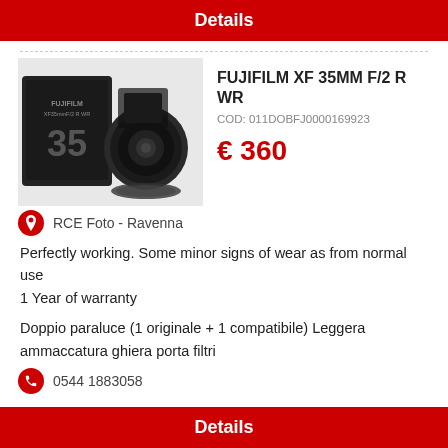Details
[Figure (photo): Fujifilm XF 35mm F/2 R WR lens product photo showing lens, lens hood, and original box]
FUJIFILM XF 35MM F/2 R WR
COD: 011DOBFJ0000169923
€ 360
RCE Foto - Ravenna
Perfectly working. Some minor signs of wear as from normal use
1 Year of warranty
Doppio paraluce (1 originale + 1 compatibile) Leggera ammaccatura ghiera porta filtri
0544 1883058
Details